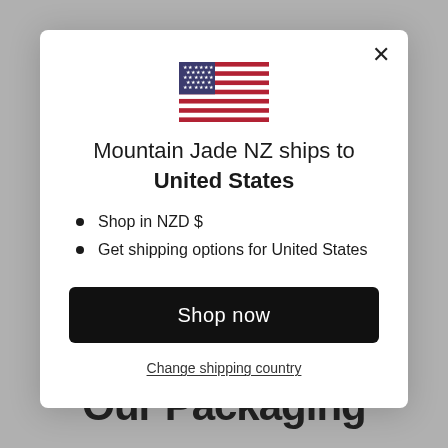[Figure (screenshot): Background: grey overlay with blurred e-commerce website content and 'Our Packaging' text visible at bottom]
[Figure (illustration): US flag emoji/icon displayed in the modal]
Mountain Jade NZ ships to United States
Shop in NZD $
Get shipping options for United States
Shop now
Change shipping country